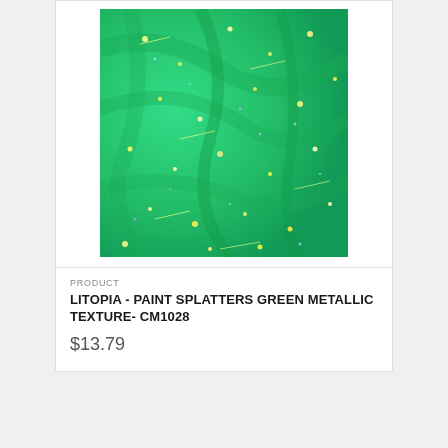[Figure (photo): Green metallic paint splatters fabric texture with iridescent sparkles on emerald green background]
PRODUCT
LITOPIA - PAINT SPLATTERS GREEN METALLIC TEXTURE- CM1028
$13.79
[Figure (photo): Purple fabric with small white and purple flower pattern on dark purple background, partially visible]